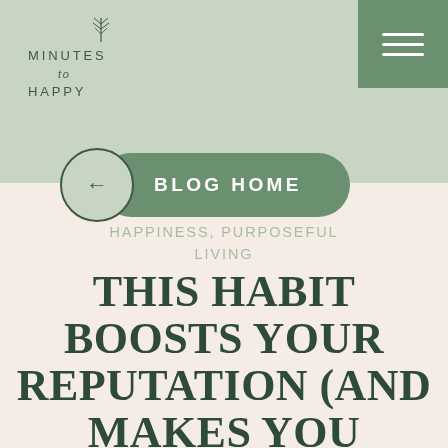[Figure (logo): Minutes to Happy logo with small botanical sprig icon above text arranged as MINUTES / to / HAPPY in spaced lettering]
[Figure (other): Green hamburger menu button in upper right corner with three white horizontal lines]
[Figure (other): Back arrow circle button overlapping a green rounded pill/capsule button labeled BLOG HOME]
FAMILY LIFE,
HAPPINESS, PURPOSEFUL
LIVING
THIS HABIT BOOSTS YOUR REPUTATION (AND MAKES YOU HEALTHIER, HAPPIER AND